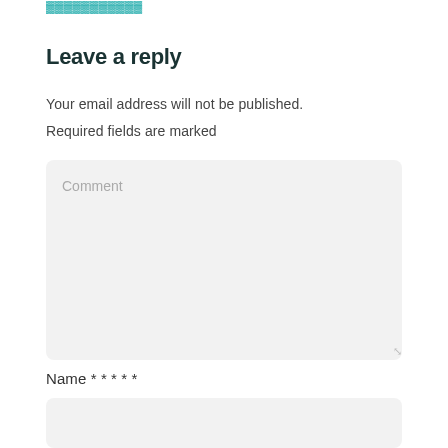[Figure (screenshot): Teal/cyan colored hyperlink text at the top of the page (partially visible)]
Leave a reply
Your email address will not be published.
Required fields are marked
[Figure (screenshot): Large gray textarea input box with placeholder text 'Comment' and a resize handle in the bottom-right corner]
Name * * * * *
[Figure (screenshot): Small gray input box for Name field]